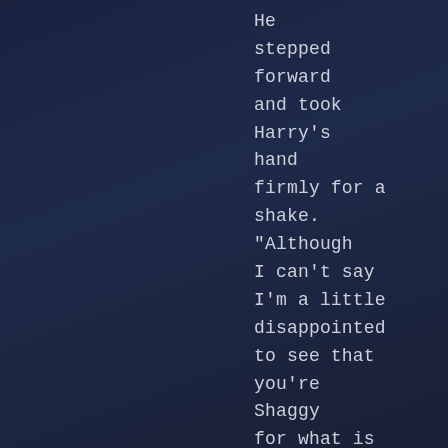He stepped forward and took Harry's hand firmly for a shake. "Although I can't say I'm a little disappointed to see that you're Shaggy for what is now the fourth year in a row!"

"It's good